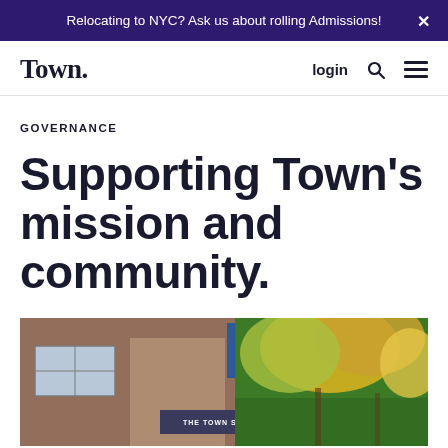Relocating to NYC? Ask us about rolling Admissions!
Town. login
GOVERNANCE
Supporting Town's mission and community.
[Figure (photo): Exterior photo of a brick school building with autumn trees showing yellow-gold foliage and a sign reading THE TOWN SCHOOL]